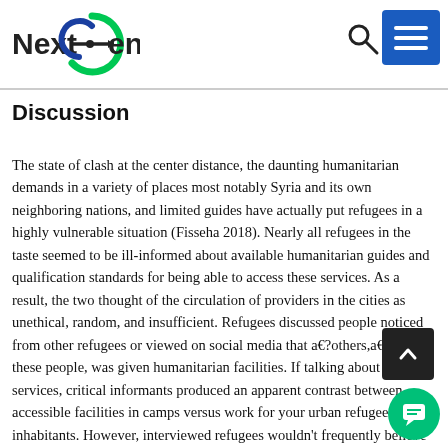NextGen [logo with search and menu icons]
Discussion
The state of clash at the center distance, the daunting humanitarian demands in a variety of places most notably Syria and its own neighboring nations, and limited guides have actually put refugees in a highly vulnerable situation (Fisseha 2018). Nearly all refugees in the taste seemed to be ill-informed about available humanitarian guides and qualification standards for being able to access these services. As a result, the two thought of the circulation of providers in the cities as unethical, random, and insufficient. Refugees discussed people noticed from other refugees or viewed on social media that a€?others,a€? not these people, was given humanitarian facilities. If talking about possible services, critical informants produced an apparent contrast between accessible facilities in camps versus work for your urban refugee inhabitants. However, interviewed refugees wouldn't frequently believe they are go an independent to go. All through the interview, Syrian